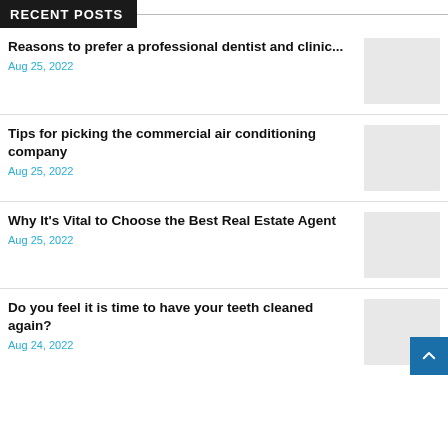RECENT POSTS
Reasons to prefer a professional dentist and clinic... | Aug 25, 2022
Tips for picking the commercial air conditioning company | Aug 25, 2022
Why It's Vital to Choose the Best Real Estate Agent | Aug 25, 2022
Do you feel it is time to have your teeth cleaned again? | Aug 24, 2022